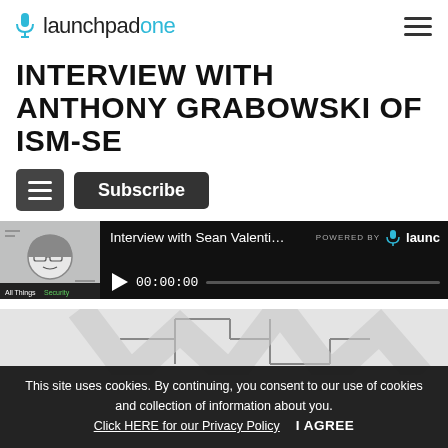launchpadone
INTERVIEW WITH ANTHONY GRABOWSKI OF ISM-SE
[Figure (screenshot): Two buttons: a hamburger menu button and a Subscribe button]
[Figure (screenshot): Audio player widget showing 'Interview with Sean Valenti of F...' POWERED BY launchpadone, with play button and 00:00:00 timestamp, thumbnail showing All Things Security podcast art]
[Figure (screenshot): Partial image visible at bottom of page showing ISM-SE related diagram]
This site uses cookies. By continuing, you consent to our use of cookies and collection of information about you. Click HERE for our Privacy Policy   I AGREE